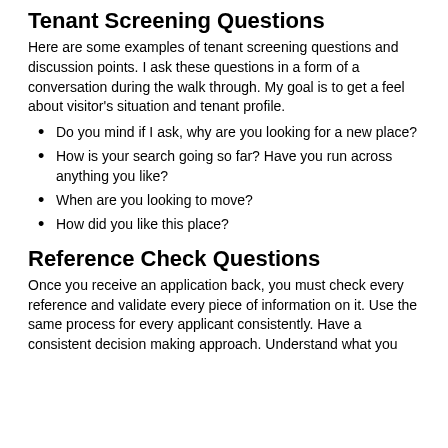Tenant Screening Questions
Here are some examples of tenant screening questions and discussion points. I ask these questions in a form of a conversation during the walk through. My goal is to get a feel about visitor's situation and tenant profile.
Do you mind if I ask, why are you looking for a new place?
How is your search going so far? Have you run across anything you like?
When are you looking to move?
How did you like this place?
Reference Check Questions
Once you receive an application back, you must check every reference and validate every piece of information on it. Use the same process for every applicant consistently. Have a consistent decision making approach. Understand what you